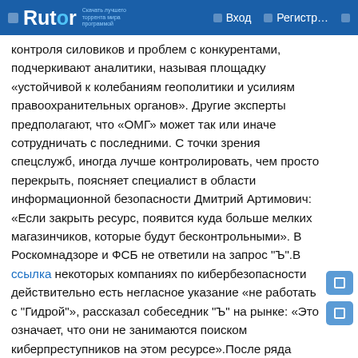Rutor — Вход — Регистр...
контроля силовиков и проблем с конкурентами, подчеркивают аналитики, называя площадку «устойчивой к колебаниям геополитики и усилиям правоохранительных органов». Другие эксперты предполагают, что «ОМГ» может так или иначе сотрудничать с последними. С точки зрения спецслужб, иногда лучше контролировать, чем просто перекрыть, поясняет специалист в области информационной безопасности Дмитрий Артимович: «Если закрыть ресурс, появится куда больше мелких магазинчиков, которые будут бесконтрольными». В Роскомнадзоре и ФСБ не ответили на запрос "Ъ".В ссылка некоторых компаниях по кибербезопасности действительно есть негласное указание «не работать с "Гидрой"», рассказал собеседник "Ъ" на рынке: «Это означает, что они не занимаются поиском киберпреступников на этом ресурсе».После ряда крупных операций по борьбе с наркоторговлей в 2019–2020 годах мировые СМИ утверждали, что «золотой век» наркоторговли в теневом интернете закончился, отмечает Игорь Бедеров, «ОМГ»